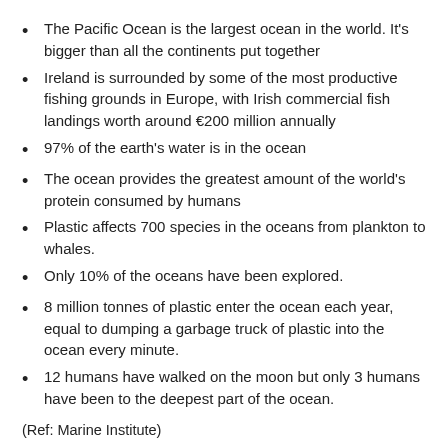The Pacific Ocean is the largest ocean in the world. It's bigger than all the continents put together
Ireland is surrounded by some of the most productive fishing grounds in Europe, with Irish commercial fish landings worth around €200 million annually
97% of the earth's water is in the ocean
The ocean provides the greatest amount of the world's protein consumed by humans
Plastic affects 700 species in the oceans from plankton to whales.
Only 10% of the oceans have been explored.
8 million tonnes of plastic enter the ocean each year, equal to dumping a garbage truck of plastic into the ocean every minute.
12 humans have walked on the moon but only 3 humans have been to the deepest part of the ocean.
(Ref: Marine Institute)